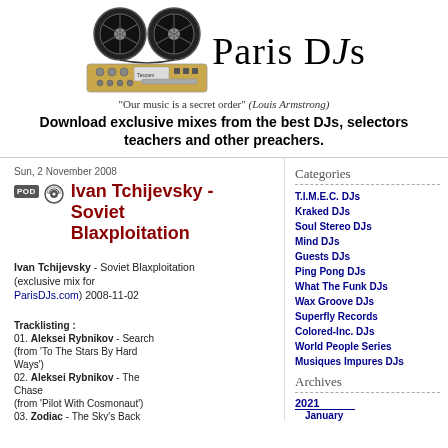[Figure (illustration): Paris DJs logo with turntable/reel-to-reel equipment illustration and stylized 'Paris DJs' text]
"Our music is a secret order" (Louis Armstrong)
Download exclusive mixes from the best DJs, selectors teachers and other preachers.
Sun, 2 November 2008
Ivan Tchijevsky - Soviet Blaxploitation
Ivan Tchijevsky - Soviet Blaxploitation (exclusive mix for ParisDJs.com) 2008-11-02
Tracklisting :
01. Aleksei Rybnikov - Search (from 'To The Stars By Hard Ways')
02. Aleksei Rybnikov - The Chase (from 'Pilot With Cosmonaut')
03. Zodiac - The Sky's Back (from 'Music In The Universe')
Categories
T.I.M.E.C. DJs
Kraked DJs
Soul Stereo DJs
Mind DJs
Guests DJs
Ping Pong DJs
What The Funk DJs
Wax Groove DJs
Superfly Records
Colored-Inc. DJs
World People Series
Musiques Impures DJs
Archives
2021
    January
2020
    October